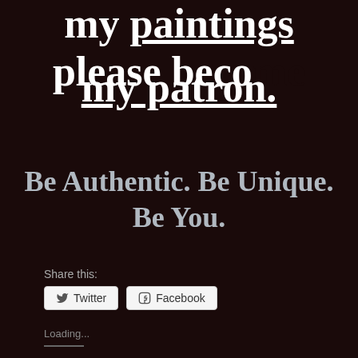my paintings please beco… my patron.
Be Authentic. Be Unique. Be You.
Share this:
Twitter
Facebook
Loading...
2 thoughts on “Born a Crime”